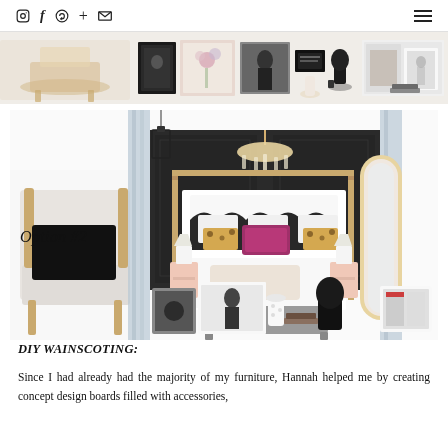Navigation bar with social icons (Instagram, Facebook, Pinterest, Plus, Email) and hamburger menu
[Figure (illustration): Top mood board strip showing a collage of interior design elements including furniture, artwork frames, floral arrangements, fashion illustrations, black bust sculpture, and decorative accessories in black, white, gold, and blush tones.]
[Figure (illustration): Option #2 interior design concept board featuring a glamorous bedroom with a four-poster gold canopy bed, dark accent wall, crystal chandelier, blue-gray curtains, pink nightstands, leopard print pillows, magenta velvet pillow, tufted gray bench, arched gold mirror, ornate accent chair with black cushion, and various decorative accessories and artwork.]
Option #2
DIY WAINSCOTING:
Since I had already had the majority of my furniture, Hannah helped me by creating concept design boards filled with accessories,